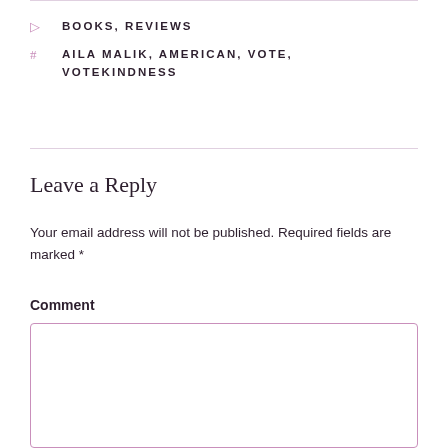BOOKS, REVIEWS
AILA MALIK, AMERICAN, VOTE, VOTEKINDNESS
Leave a Reply
Your email address will not be published. Required fields are marked *
Comment